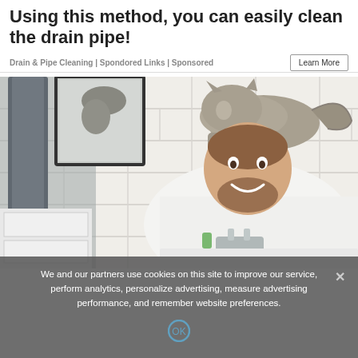Using this method, you can easily clean the drain pipe!
Drain & Pipe Cleaning | Spondored Links | Sponsored
[Figure (photo): A smiling bearded man leaning over a bathroom sink while a tabby cat sits on his back near the faucet. White subway tile walls and a mirror in the background. The man is wearing a white t-shirt.]
We and our partners use cookies on this site to improve our service, perform analytics, personalize advertising, measure advertising performance, and remember website preferences.